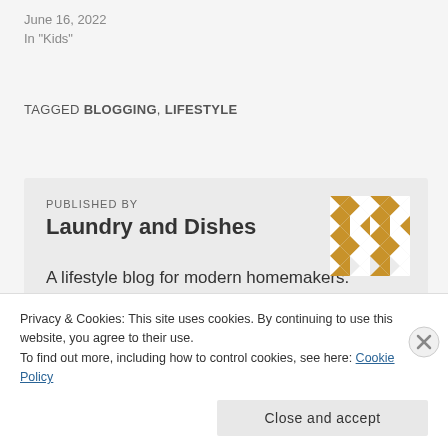June 16, 2022
In "Kids"
TAGGED BLOGGING, LIFESTYLE
PUBLISHED BY
Laundry and Dishes
A lifestyle blog for modern homemakers.
View all posts by Laundry and Dishes
Privacy & Cookies: This site uses cookies. By continuing to use this website, you agree to their use.
To find out more, including how to control cookies, see here: Cookie Policy
Close and accept